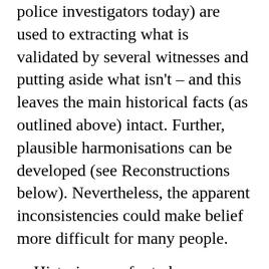police investigators today) are used to extracting what is validated by several witnesses and putting aside what isn't – and this leaves the main historical facts (as outlined above) intact. Further, plausible harmonisations can be developed (see Reconstructions below). Nevertheless, the apparent inconsistencies could make belief more difficult for many people.
Historians prefer to have multiple sources to give independent confirmation of events, and there are no accounts of the resurrection outside the New Testament. However, the New Testament is made up of five separate sources which didn't come